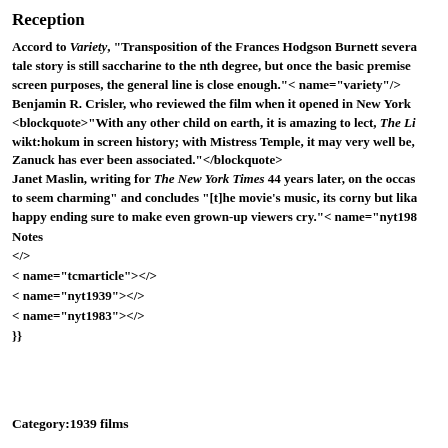Reception
Accord to Variety, "Transposition of the Frances Hodgson Burnett several tale story is still saccharine to the nth degree, but once the basic premise screen purposes, the general line is close enough."< name="variety"/> Benjamin R. Crisler, who reviewed the film when it opened in New York <blockquote>"With any other child on earth, it is amazing to lect, The Li wikt:hokum in screen history; with Mistress Temple, it may very well be, Zanuck has ever been associated."</blockquote> Janet Maslin, writing for The New York Times 44 years later, on the occas to seem charming" and concludes "[t]he movie's music, its corny but lika happy ending sure to make even grown-up viewers cry."< name="nyt198
Notes
</>
< name="tcmarticle"></>
< name="nyt1939"></>
< name="nyt1983"></>
}}
Category:1939 films